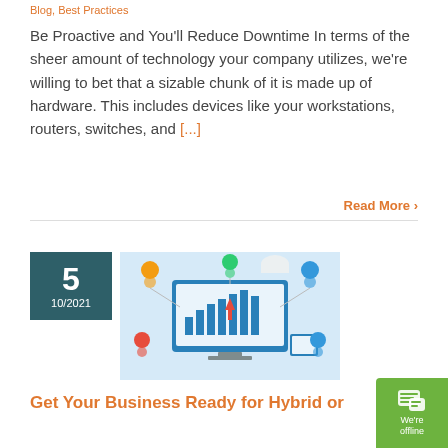Blog, Best Practices
Be Proactive and You'll Reduce Downtime In terms of the sheer amount of technology your company utilizes, we're willing to bet that a sizable chunk of it is made up of hardware. This includes devices like your workstations, routers, switches, and [...]
Read More >
[Figure (illustration): Date badge showing day 5, month/year 10/2021 in dark teal box]
[Figure (illustration): Blog post thumbnail image showing business technology and hybrid work concept with people icons, computer screens, charts, and network connections on light blue background]
Get Your Business Ready for Hybrid or
[Figure (illustration): Green chat widget in bottom-right corner with speech bubble icon and text 'We're offline']